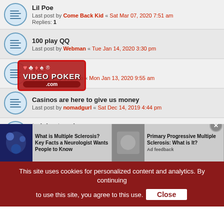Lil Poe — Last post by Come Back Kid « Sat Mar 07, 2020 7:51 am — Replies: 1
100 play QQ — Last post by Webman « Tue Jan 14, 2020 3:30 pm
TOC — Last post by BJbozo « Mon Jan 13, 2020 9:55 am
Casinos are here to give us money — Last post by nomadgurl « Sat Dec 14, 2019 4:44 pm
training tuesdays — Last post by doris13 « Tue Dec 03, 2019 9:56 am — Replies: 3
Challenge suggestion — Last post by Come Back Kid « Sat Nov 23, 2019 6:03 am — Replies: 5
Off to the Machines!
[Figure (screenshot): Video Poker .com watermark logo overlaid on the page]
[Figure (infographic): Advertisement bar with two ads: 'What is Multiple Sclerosis? Key Facts a Neurologist Wants People to Know' and 'Primary Progressive Multiple Sclerosis: What is It?']
This site uses cookies for personalized content and analytics. By continuing to use this site, you agree to this use. Close